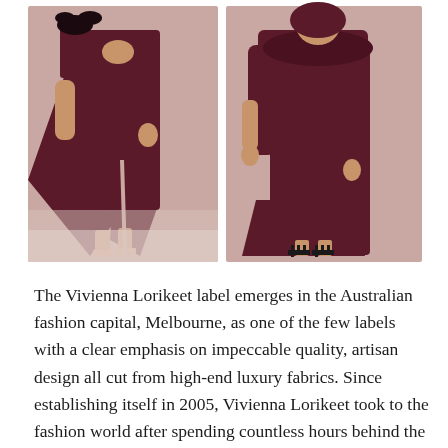[Figure (photo): Two fashion photos side by side of models wearing dark burgundy/wine colored dresses against a mauve/dusty rose background. Left model wears a dramatic one-shoulder asymmetric dress with a large cape/train element and embellishment at shoulder, paired with nude heels. Right model wears a long-sleeve off-shoulder wrapped midi dress in the same burgundy color, paired with black strappy heels.]
The Vivienna Lorikeet label emerges in the Australian fashion capital, Melbourne, as one of the few labels with a clear emphasis on impeccable quality, artisan design all cut from high-end luxury fabrics. Since establishing itself in 2005, Vivienna Lorikeet took to the fashion world after spending countless hours behind the sewing